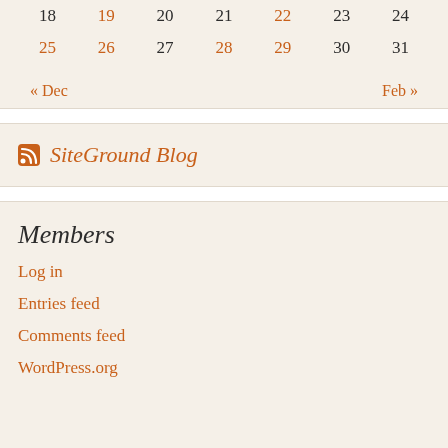| 18 | 19 | 20 | 21 | 22 | 23 | 24 |
| 25 | 26 | 27 | 28 | 29 | 30 | 31 |
« Dec    Feb »
SiteGround Blog
Members
Log in
Entries feed
Comments feed
WordPress.org